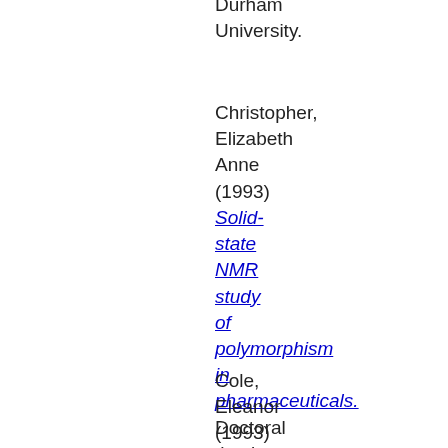Durham University.
Christopher, Elizabeth Anne (1993) Solid-state NMR study of polymorphism in pharmaceuticals. Doctoral thesis, Durham University.
Cole, Eleanor (1993)